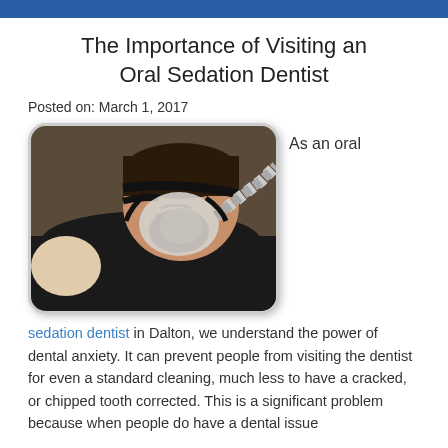The Importance of Visiting an Oral Sedation Dentist
Posted on: March 1, 2017
[Figure (photo): A man lying on a pillow wearing a CPAP sleep apnea mask with a flexible hose attached, eyes closed, sleeping.]
As an oral
sedation dentist in Dalton, we understand the power of dental anxiety. It can prevent people from visiting the dentist for even a standard cleaning, much less to have a cracked, or chipped tooth corrected. This is a significant problem because when people do have a dental issue